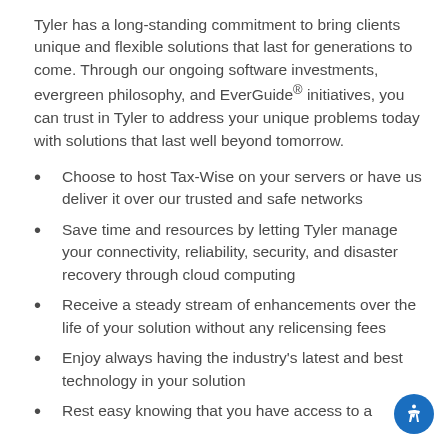Tyler has a long-standing commitment to bring clients unique and flexible solutions that last for generations to come. Through our ongoing software investments, evergreen philosophy, and EverGuide® initiatives, you can trust in Tyler to address your unique problems today with solutions that last well beyond tomorrow.
Choose to host Tax-Wise on your servers or have us deliver it over our trusted and safe networks
Save time and resources by letting Tyler manage your connectivity, reliability, security, and disaster recovery through cloud computing
Receive a steady stream of enhancements over the life of your solution without any relicensing fees
Enjoy always having the industry's latest and best technology in your solution
Rest easy knowing that you have access to a